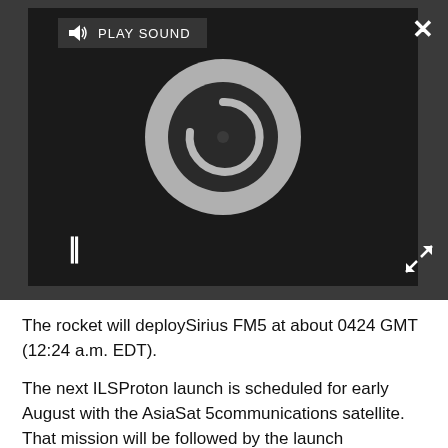[Figure (screenshot): Video player UI with dark background, a loading spinner graphic, play sound bar at top, pause button (||) at bottom left, close (x) button at top right, and expand arrows at bottom right.]
The rocket will deploySirius FM5 at about 0424 GMT (12:24 a.m. EDT).
The next ILSProton launch is scheduled for early August with the AsiaSat 5communications satellite. That mission will be followed by the launch ofCanada's Nimiq 5 spacecraft in early fall, officials said.
Images - 20 Great Rocket Launches
Video - Discovery's STS-119 Night Launch
New Video Show - A Trip to Stargate: Atlantis